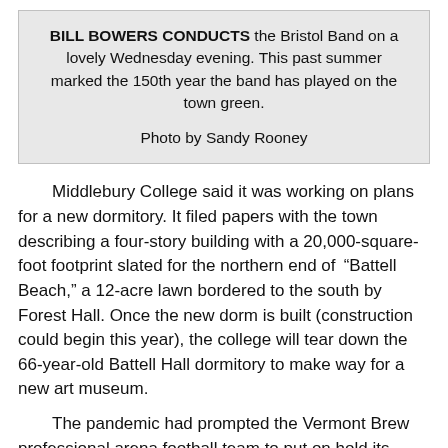BILL BOWERS CONDUCTS the Bristol Band on a lovely Wednesday evening. This past summer marked the 150th year the band has played on the town green.

Photo by Sandy Rooney
Middlebury College said it was working on plans for a new dormitory. It filed papers with the town describing a four-story building with a 20,000-square-foot footprint slated for the northern end of “Battell Beach,” a 12-acre lawn bordered to the south by Forest Hall. Once the new dorm is built (construction could begin this year), the college will tear down the 66-year-old Battell Hall dormitory to make way for a new art museum.
The pandemic had prompted the Vermont Brew professional arena football team to put on hold its